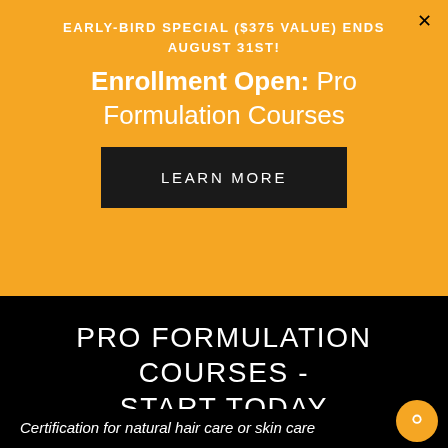EARLY-BIRD SPECIAL ($375 VALUE) ENDS AUGUST 31ST!
Enrollment Open: Pro Formulation Courses
LEARN MORE
PRO FORMULATION COURSES - START TODAY
Certification for natural hair care or skin care